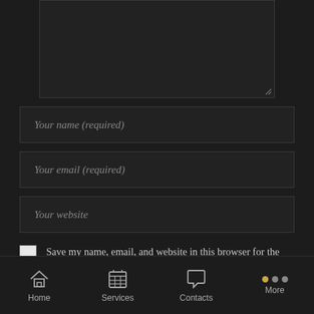[Figure (screenshot): Dark-themed web comment form with textarea, name/email/website input fields, checkbox to save info, up-arrow scroll button, submit button bar, and bottom navigation bar with Home, Services, Contacts, More tabs]
Your name (required)
Your email (required)
Your website
Save my name, email, and website in this browser for the next time I comment.
Home  Services  Contacts  More